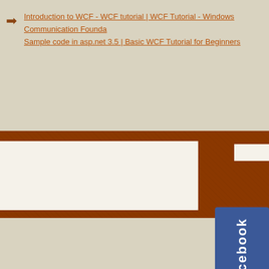Introduction to WCF - WCF tutorial | WCF Tutorial - Windows Communication Foundation Sample code in asp.net 3.5 | Basic WCF Tutorial for Beginners
[Figure (screenshot): Brown banner section with a large white content area box on the left and a small white box on the upper right. Below the banner is a Facebook badge/widget on the right side.]